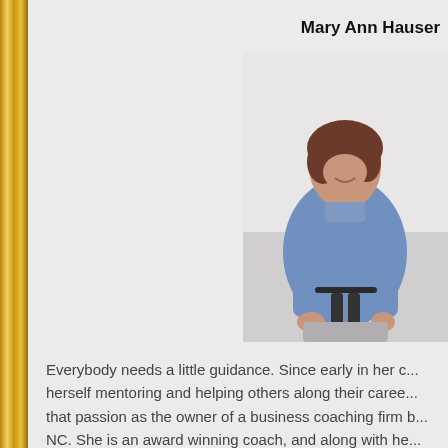Mary Ann Hauser
[Figure (photo): Professional photo of Mary Ann Hauser, a woman with brown hair wearing a blue button-up shirt, leaning on a black chair and smiling, in a light-colored studio setting.]
Everybody needs a little guidance. Since early in her c... herself mentoring and helping others along their caree... that passion as the owner of a business coaching firm b... NC. She is an award winning coach, and along with he... worked with hundreds of businesses in the North Caro... owners and corporate leaders how to get more time, be...